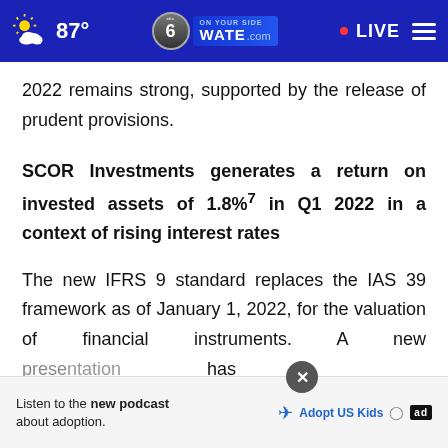87° WATE.com LIVE
2022 remains strong, supported by the release of prudent provisions.
SCOR Investments generates a return on invested assets of 1.8%⁷ in Q1 2022 in a context of rising interest rates
The new IFRS 9 standard replaces the IAS 39 framework as of January 1, 2022, for the valuation of financial instruments. A new presentation has been...accounting